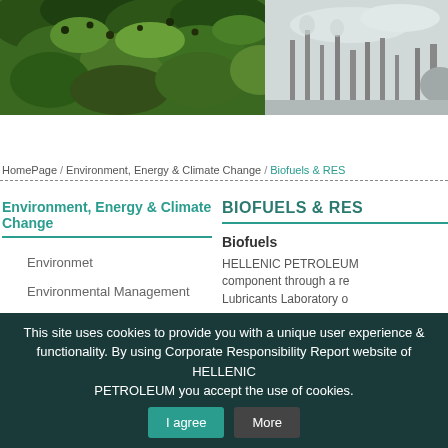[Figure (photo): Hero banner image showing green tree leaves on the left side and an industrial refinery/petroleum plant on the right side against a grey sky background]
HomePage / Environment, Energy & Climate Change / Biofuels & RES
Environment, Energy & Climate Change
Environmet
Environmental Management
Air Emissions & Waste
BIOFUELS & RES
Biofuels
HELLENIC PETROLEUM component through a re Lubricants Laboratory o
This site uses cookies to provide you with a unique user experience & functionality. By using Corporate Responsibility Report website of HELLENIC PETROLEUM you accept the use of cookies.